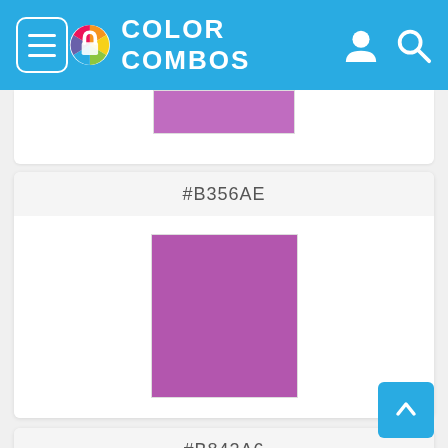Color Combos
[Figure (illustration): Partial color swatch card showing a purple color at the top of the page]
#B356AE
[Figure (illustration): Color swatch card for #B356AE showing a medium purple rectangle]
#B842A6
[Figure (illustration): Color swatch card for #B842A6 showing a darker purple rectangle (partially visible)]